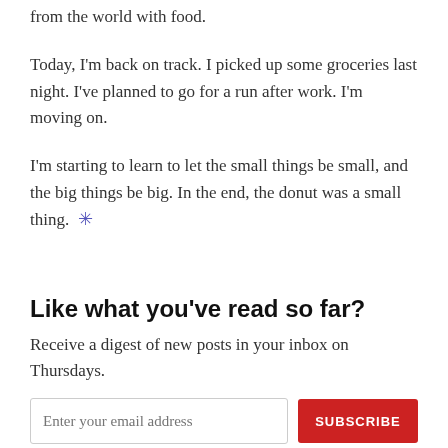from the world with food.
Today, I'm back on track. I picked up some groceries last night. I've planned to go for a run after work. I'm moving on.
I'm starting to learn to let the small things be small, and the big things be big. In the end, the donut was a small thing. ✳
Like what you've read so far?
Receive a digest of new posts in your inbox on Thursdays.